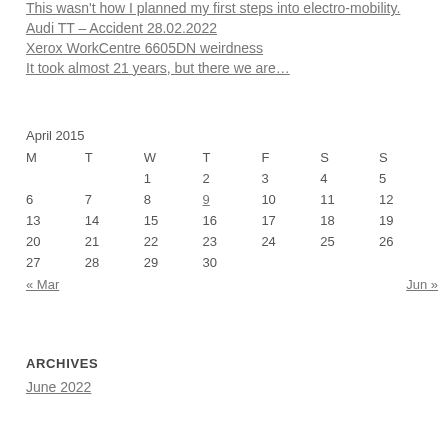This wasn't how I planned my first steps into electro-mobility.
Audi TT – Accident 28.02.2022
Xerox WorkCentre 6605DN weirdness
It took almost 21 years, but there we are…
April 2015
| M | T | W | T | F | S | S |
| --- | --- | --- | --- | --- | --- | --- |
|  |  | 1 | 2 | 3 | 4 | 5 |
| 6 | 7 | 8 | 9 | 10 | 11 | 12 |
| 13 | 14 | 15 | 16 | 17 | 18 | 19 |
| 20 | 21 | 22 | 23 | 24 | 25 | 26 |
| 27 | 28 | 29 | 30 |  |  |  |
« Mar    Jun »
ARCHIVES
June 2022